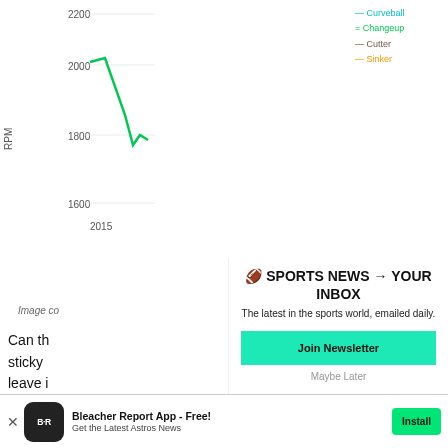[Figure (line-chart): RPM by pitch type over time]
Image co
Can th sticky leave i
Beside any ta
🏈 SPORTS NEWS → YOUR INBOX
The latest in the sports world, emailed daily.
Join Newsletter
Maybe Later
Bleacher Report App - Free! Get the Latest Astros News